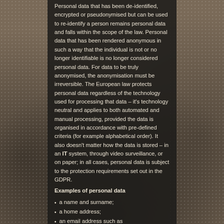Personal data that has been de-identified, encrypted or pseudonymised but can be used to re-identify a person remains personal data and falls within the scope of the law. Personal data that has been rendered anonymous in such a way that the individual is not or no longer identifiable is no longer considered personal data. For data to be truly anonymised, the anonymisation must be irreversible. The European law protects personal data regardless of the technology used for processing that data – it's technology neutral and applies to both automated and manual processing, provided the data is organised in accordance with pre-defined criteria (for example alphabetical order). It also doesn't matter how the data is stored – in an IT system, through video surveillance, or on paper; in all cases, personal data is subject to the protection requirements set out in the GDPR.
Examples of personal data
a name and surname;
a home address;
an email address such as